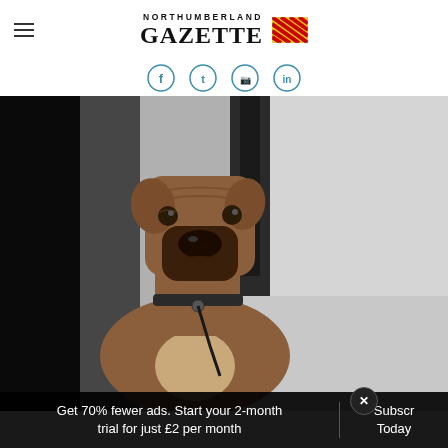NORTHUMBERLAND GAZETTE
[Figure (other): Four social media icon circles (Facebook, Twitter/X, Instagram, another) shown in teal/blue outline style]
[Figure (photo): A boxer dog leaning out of a car window, looking at the camera with a serious expression. The background is blurred grey/urban. The left side of the image is heavily shadowed black.]
Get 70% fewer ads. Start your 2-month trial for just £2 per month
Subscribe Today